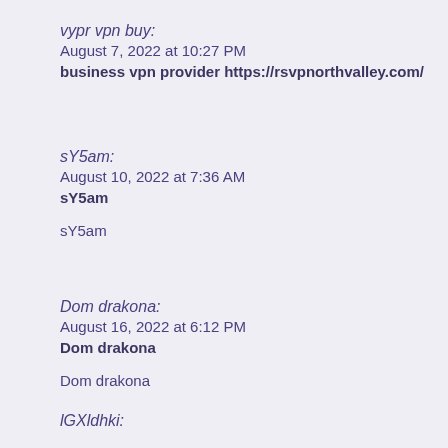vypr vpn buy:
August 7, 2022 at 10:27 PM
business vpn provider https://rsvpnorthvalley.com/
sY5am:
August 10, 2022 at 7:36 AM
sY5am

sY5am
Dom drakona:
August 16, 2022 at 6:12 PM
Dom drakona

Dom drakona
lGXldhki: